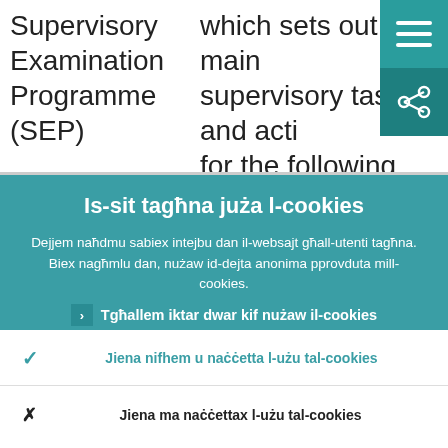Supervisory Examination Programme (SEP)
which sets out the main supervisory tasks and acti... for the following 12 month... their tentative schedules a...
Is-sit tagħna juża l-cookies
Dejjem naħdmu sabiex intejbu dan il-websajt għall-utenti tagħna. Biex nagħmlu dan, nużaw id-dejta anonima pprovduta mill-cookies.
Tgħallem iktar dwar kif nużaw il-cookies
Jiena nifhem u naċċetta l-użu tal-cookies
Jiena ma naċċettax l-użu tal-cookies